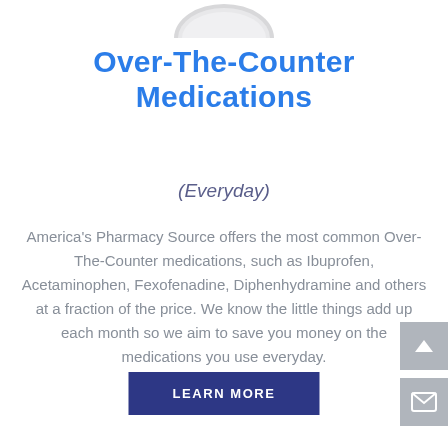[Figure (photo): Partial view of a white oval pill/tablet at the top of the page]
Over-The-Counter Medications
(Everyday)
America’s Pharmacy Source offers the most common Over-The-Counter medications, such as Ibuprofen, Acetaminophen, Fexofenadine, Diphenhydramine and others at a fraction of the price. We know the little things add up each month so we aim to save you money on the medications you use everyday.
LEARN MORE